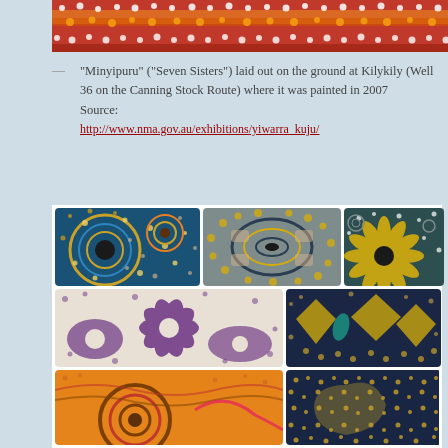[Figure (photo): Cropped top portion of an Aboriginal dot painting — red, orange, yellow and white dotted patterns on red background, partially visible at top of page]
— "Minyipuru" ("Seven Sisters") laid out on the ground at Kilykily (Well 36 on the Canning Stock Route) where it was painted in 2007 Source: http://www.nma.gov.au/exhibitions/yiwarra_kuju/
[Figure (photo): A 3x2+ grid collage of close-up photographs of Aboriginal dot paintings showing circular patterns, spirals, flower motifs, and dots in colors including teal, yellow, purple, orange, and navy blue]